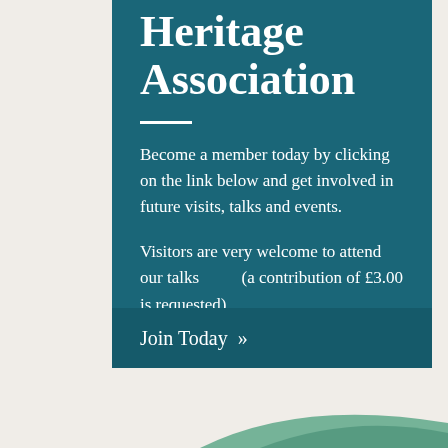Heritage Association
Become a member today by clicking on the link below and get involved in future visits, talks and events.
Visitors are very welcome to attend our talks (a contribution of £3.00 is requested).
Join Today »